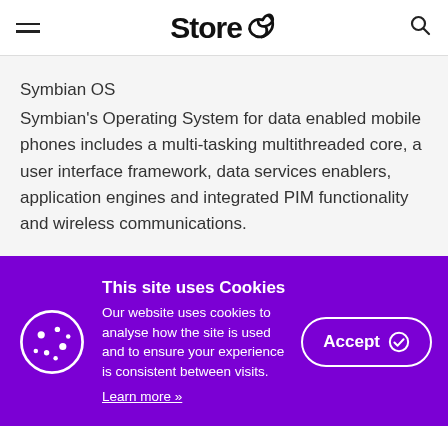Store 3 — navigation header with hamburger menu and search icon
Symbian OS
Symbian's Operating System for data enabled mobile phones includes a multi-tasking multithreaded core, a user interface framework, data services enablers, application engines and integrated PIM functionality and wireless communications.
This site uses Cookies
Our website uses cookies to analyse how the site is used and to ensure your experience is consistent between visits.
Learn more »